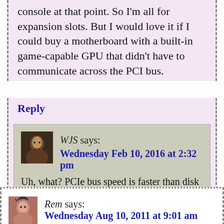console at that point. So I'm all for expansion slots. But I would love it if I could buy a motherboard with a built-in game-capable GPU that didn't have to communicate across the PCI bus.
Reply
WJS says: Wednesday Feb 10, 2016 at 2:32 pm
Uh, what? PCIe bus speed is faster than disk access. What the hell are you running where that is a bottleneck?
Reply
Rem says: Wednesday Aug 10, 2011 at 9:01 am
On a side note: Atari...